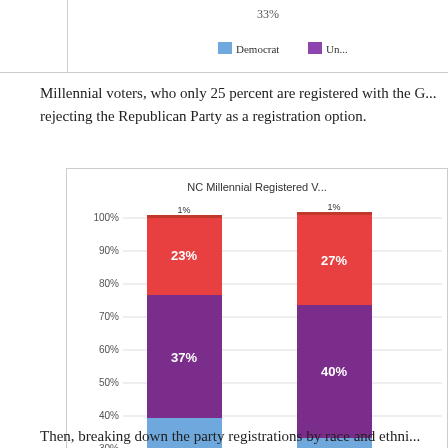[Figure (stacked-bar-chart): NC Millennial Registered Voters by Gender]
Millennial voters, who only 25 percent are registered with the G... rejecting the Republican Party as a registration option.
[Figure (stacked-bar-chart): NC Millennial Registered V...]
Then, breaking down the party registrations by race and ethni...